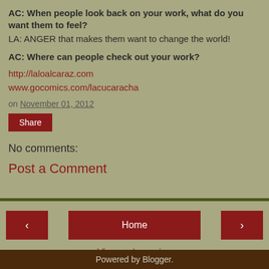AC: When people look back on your work, what do you want them to feel?
LA: ANGER that makes them want to change the world!
AC: Where can people check out your work?
http://laloalcaraz.com
www.gocomics.com/lacucaracha
on November 01, 2012
Share
No comments:
Post a Comment
Home
View web version
Powered by Blogger.